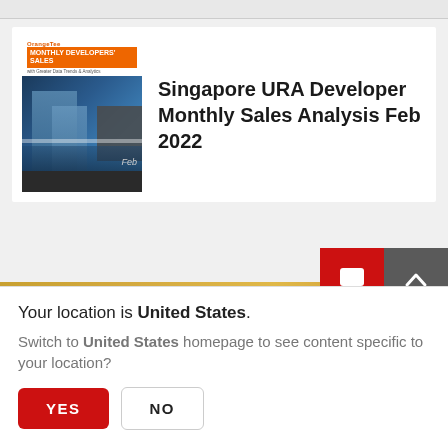[Figure (illustration): Book cover thumbnail for 'Singapore URA Developer Monthly Sales Analysis Feb 2022' showing a blue building/cityscape with OrangeTee branding]
Singapore URA Developer Monthly Sales Analysis Feb 2022
Your location is United States.
Switch to United States homepage to see content specific to your location?
YES
NO